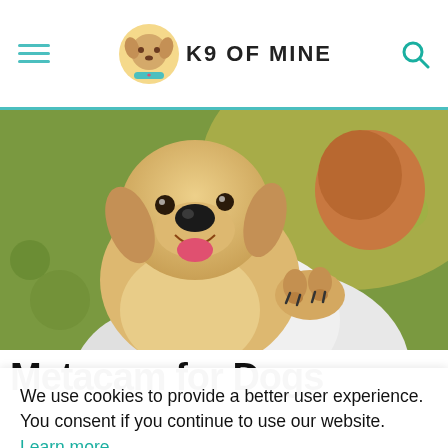K9 OF MINE
[Figure (photo): A golden retriever puppy being held over someone's shoulder, tongue out, outdoors with bokeh background]
Metacam for Dogs
We use cookies to provide a better user experience. You consent if you continue to use our website. Learn more
Got it
reduce joint pain for most dogs, but it it is important to